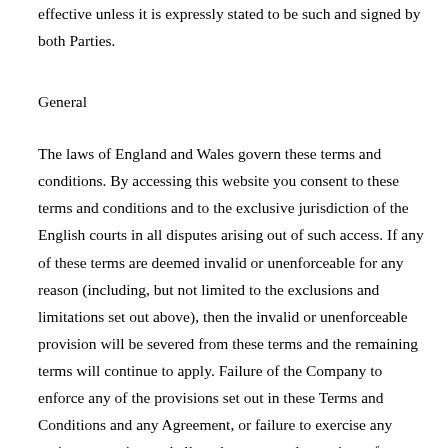effective unless it is expressly stated to be such and signed by both Parties.
General
The laws of England and Wales govern these terms and conditions. By accessing this website you consent to these terms and conditions and to the exclusive jurisdiction of the English courts in all disputes arising out of such access. If any of these terms are deemed invalid or unenforceable for any reason (including, but not limited to the exclusions and limitations set out above), then the invalid or unenforceable provision will be severed from these terms and the remaining terms will continue to apply. Failure of the Company to enforce any of the provisions set out in these Terms and Conditions and any Agreement, or failure to exercise any option to terminate, shall not be construed as waiver of